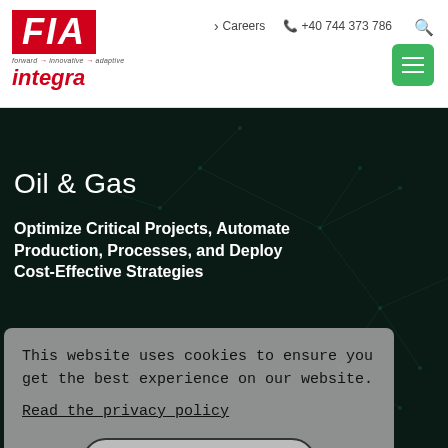[Figure (logo): FIA Integra logo: red box with white italic FIA text, tagline 'forward innovative adaptive', red italic integra text]
› Careers   ✆ +40 744 373 786
Oil & Gas
Optimize Critical Projects, Automate Production, Processes, and Deploy Cost-Effective Strategies
This website uses cookies to ensure you get the best experience on our website. Read the privacy policy
Accept